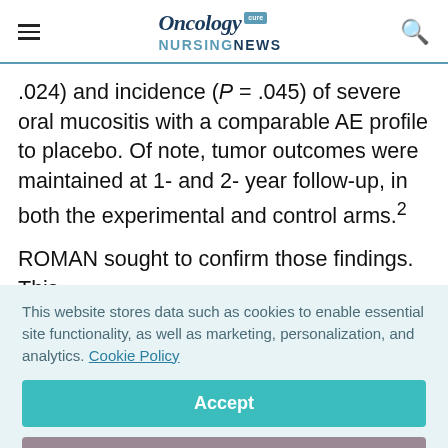Oncology NURSING NEWS
.024) and incidence (P = .045) of severe oral mucositis with a comparable AE profile to placebo. Of note, tumor outcomes were maintained at 1- and 2- year follow-up, in both the experimental and control arms.²
ROMAN sought to confirm those findings. This
This website stores data such as cookies to enable essential site functionality, as well as marketing, personalization, and analytics. Cookie Policy
Accept
Deny